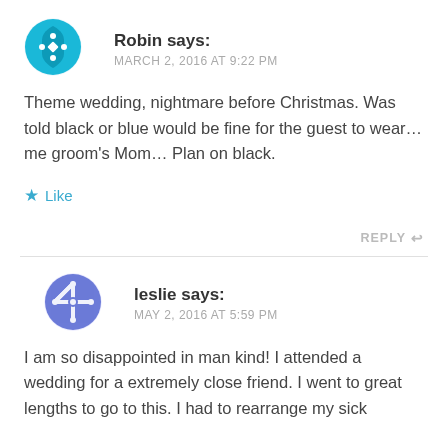[Figure (illustration): Cyan/blue circular avatar icon with decorative cross pattern for user Robin]
Robin says:
MARCH 2, 2016 AT 9:22 PM
Theme wedding, nightmare before Christmas. Was told black or blue would be fine for the guest to wear…me groom's Mom… Plan on black.
★ Like
REPLY ↩
[Figure (illustration): Purple/blue circular avatar icon with geometric snowflake pattern for user leslie]
leslie says:
MAY 2, 2016 AT 5:59 PM
I am so disappointed in man kind! I attended a wedding for a extremely close friend. I went to great lengths to go to this. I had to rearrange my sick